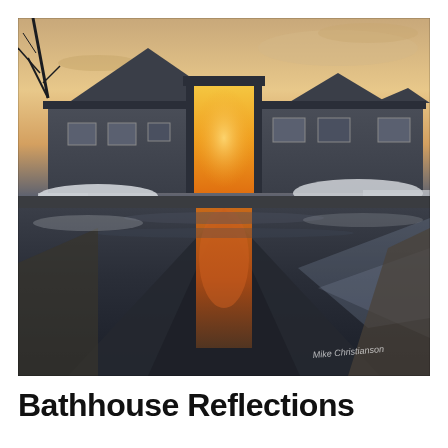[Figure (photo): Photograph of a bathhouse building at sunset/golden hour in winter. The building has peaked roofs and an open central doorway glowing with warm golden light. Snow is visible on the ground around the building. The image is reflected in a large puddle or pool of water in the foreground, creating a mirror-like reflection. The scene shows bare trees, patchy snow, and a warm sunset sky. A photographer's watermark reading 'Mike Christianson' is visible in the lower right of the image.]
Bathhouse Reflections